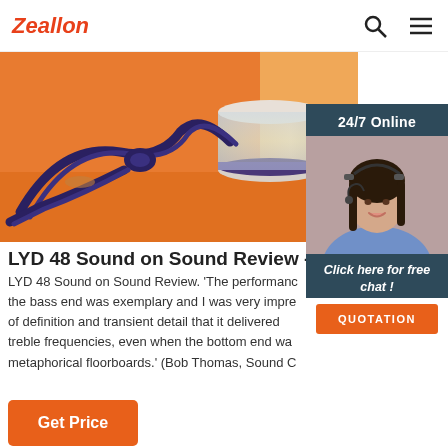Zeallon
[Figure (photo): Product photo showing a speaker with rope/cable on an orange background, with a cylindrical glass object]
[Figure (photo): 24/7 Online chat widget with photo of a woman wearing a headset, 'Click here for free chat!' text, and QUOTATION button]
LYD 48 Sound on Sound Review - Dynaudio
LYD 48 Sound on Sound Review. 'The performance at the bass end was exemplary and I was very impressed of definition and transient detail that it delivered at treble frequencies, even when the bottom end was metaphorical floorboards.' (Bob Thomas, Sound C
Get Price